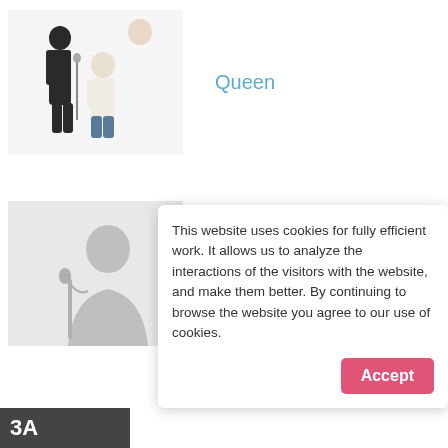[Figure (photo): Photo of the band Queen — four members in white outfits against a white background]
Queen
[Figure (illustration): Generic placeholder silhouette of a singer with a microphone on a light grey background]
Konvirsy
This website uses cookies for fully efficient work. It allows us to analyze the interactions of the visitors with the website, and make them better. By continuing to browse the website you agree to our use of cookies.
Accept
3А